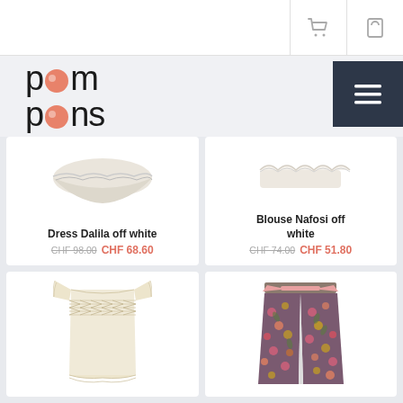[Figure (logo): Pom Pons logo with pink dot replacing 'o' letters]
Dress Dalila off white
CHF 98.00 CHF 68.60
Blouse Nafosi off white
CHF 74.00 CHF 51.80
[Figure (photo): Product photo of a cream/beige smocked top with ruffled sleeves]
[Figure (photo): Product photo of floral patterned wide-leg pants with pink tie belt]